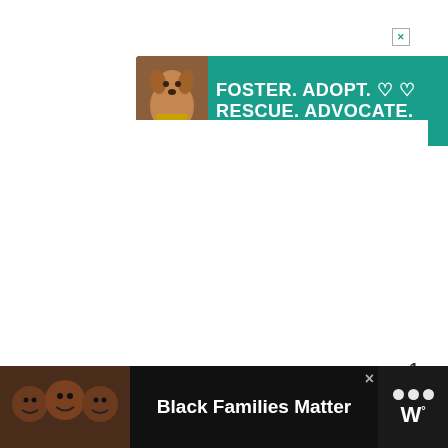[Figure (illustration): Advertisement banner with teal/green background showing a dog on the left and bold white text: FOSTER. ADOPT. RESCUE. ADVOCATE. with heart icons. Close button in top right corner.]
[Figure (infographic): Gold circular heart/like button showing a heart icon, with count '1' below it, and a white circular share button with share icon below that.]
[Figure (infographic): What's Next card showing a circular thumbnail image on the left and text 'WHAT'S NEXT → How To Get A Cigarette...' on the right.]
[Figure (illustration): Bottom advertisement bar on dark/black background showing a photo of Black families on the left, bold white text 'Black Families Matter' in the center, a close (×) button, and a logo on the right with three dots and a 'W' superscript.]